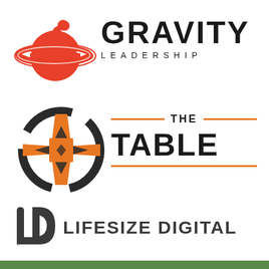[Figure (logo): Gravity Leadership logo: red planet/Saturn icon on left, large bold GRAVITY text with LEADERSHIP below in spaced caps on right]
[Figure (logo): The Table logo: orange Celtic cross/knot icon on left, 'THE TABLE' text with orange horizontal rules above and below on right]
[Figure (logo): Lifesize Digital logo: dark gray LD monogram icon on left, 'LIFESIZE DIGITAL' bold text on right]
[Figure (other): Green horizontal bar at bottom of page]